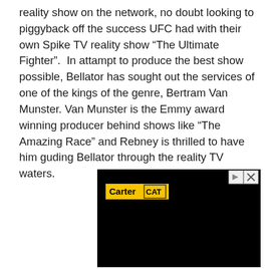reality show on the network, no doubt looking to piggyback off the success UFC had with their own Spike TV reality show “The Ultimate Fighter”.  In attampt to produce the best show possible, Bellator has sought out the services of one of the kings of the genre, Bertram Van Munster. Van Munster is the Emmy award winning producer behind shows like “The Amazing Race” and Rebney is thrilled to have him guding Bellator through the reality TV waters.
[Figure (screenshot): Black video player area with Carter CAT advertisement overlay at top-left, and play/close control buttons at top-right.]